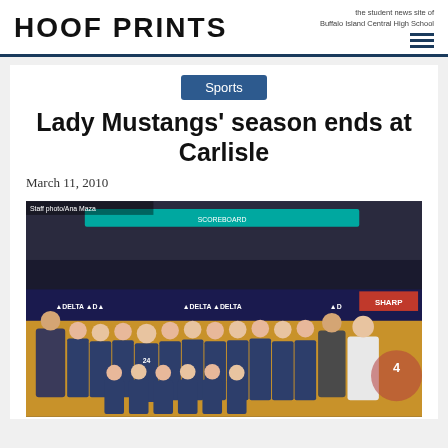HOOF PRINTS — the student news site of Buffalo Island Central High School
Sports
Lady Mustangs' season ends at Carlisle
March 11, 2010
[Figure (photo): Group photo of the Lady Mustangs basketball team posed on a basketball court in an arena with Delta airline advertising boards visible in the background. Players wearing navy blue uniforms including number 24. Coach and staff also present. Caption: Staff photo/Ana Maza]